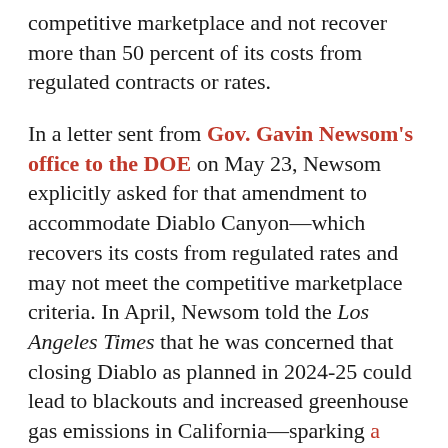competitive marketplace and not recover more than 50 percent of its costs from regulated contracts or rates.
In a letter sent from Gov. Gavin Newsom's office to the DOE on May 23, Newsom explicitly asked for that amendment to accommodate Diablo Canyon—which recovers its costs from regulated rates and may not meet the competitive marketplace criteria. In April, Newsom told the Los Angeles Times that he was concerned that closing Diablo as planned in 2024-25 could lead to blackouts and increased greenhouse gas emissions in California—sparking a hurried effort to change course.
"The state is evaluating a temporary delay of the planned retirement of Diablo Canyon Power